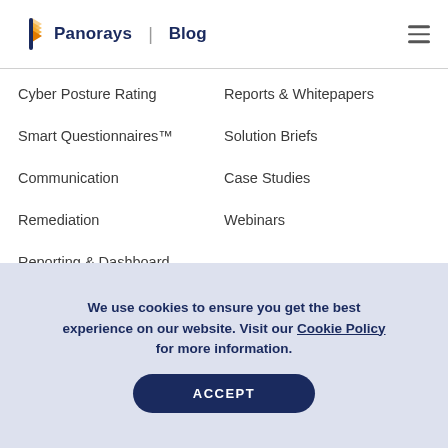Panorays | Blog
Cyber Posture Rating
Reports & Whitepapers
Smart Questionnaires™
Solution Briefs
Communication
Case Studies
Remediation
Webinars
Reporting & Dashboard
Regulatory Compliance
We use cookies to ensure you get the best experience on our website. Visit our Cookie Policy for more information.